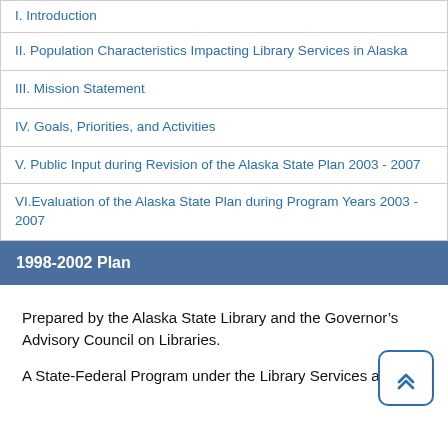I. Introduction
II. Population Characteristics Impacting Library Services in Alaska
III. Mission Statement
IV. Goals, Priorities, and Activities
V. Public Input during Revision of the Alaska State Plan 2003 - 2007
VI.Evaluation of the Alaska State Plan during Program Years 2003 - 2007
1998-2002 Plan
Prepared by the Alaska State Library and the Governor’s Advisory Council on Libraries.
A State-Federal Program under the Library Services and